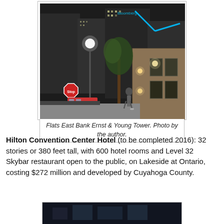[Figure (photo): Night photo of Flats East Bank Ernst & Young Tower, showing a street scene with trees, a stop sign, a person walking, and illuminated buildings in the background with blue neon lighting.]
Flats East Bank Ernst & Young Tower. Photo by the author.
Hilton Convention Center Hotel (to be completed 2016): 32 stories or 380 feet tall, with 600 hotel rooms and Level 32 Skybar restaurant open to the public, on Lakeside at Ontario, costing $272 million and developed by Cuyahoga County.
[Figure (photo): Partial view of another building photo at the bottom of the page, appears dark/night scene.]